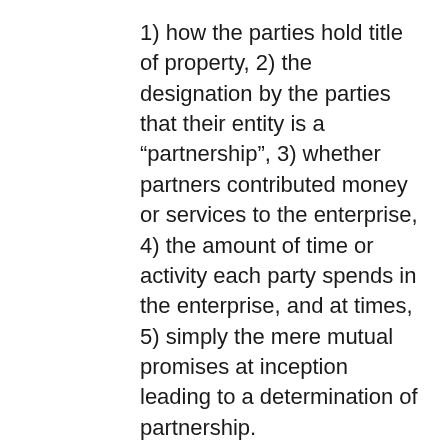1) how the parties hold title of property, 2) the designation by the parties that their entity is a “partnership”, 3) whether partners contributed money or services to the enterprise, 4) the amount of time or activity each party spends in the enterprise, and at times, 5) simply the mere mutual promises at inception leading to a determination of partnership.
So what does this all mean? Question of fact...intent...oral or implied...? Well, it means you could be in for a long and expensive lawsuit if an angry party asserts that they...